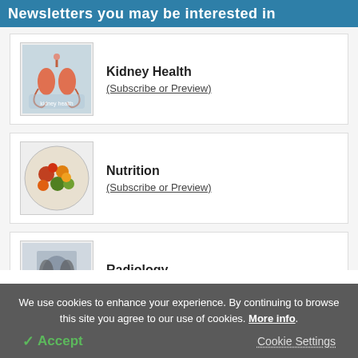Newsletters you may be interested in
Kidney Health
(Subscribe or Preview)
[Figure (photo): Illustration of kidneys held in hands, medical themed image]
Nutrition
(Subscribe or Preview)
[Figure (photo): Circular photo of assorted fruits and vegetables on a plate]
Radiology
(Subscribe or Preview)
[Figure (photo): X-ray image of chest/lungs with radiology equipment]
We use cookies to enhance your experience. By continuing to browse this site you agree to our use of cookies. More info.
✓ Accept   Cookie Settings